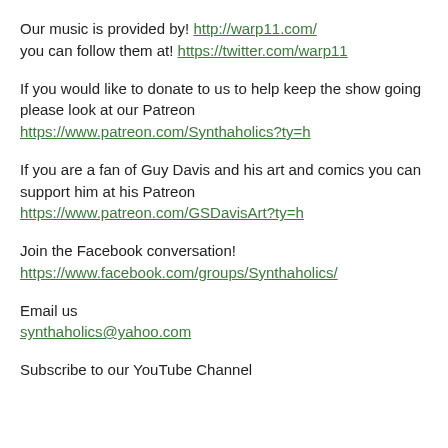Our music is provided by! http://warp11.com/ you can follow them at! https://twitter.com/warp11
If you would like to donate to us to help keep the show going please look at our Patreon https://www.patreon.com/Synthaholics?ty=h
If you are a fan of Guy Davis and his art and comics you can support him at his Patreon https://www.patreon.com/GSDavisArt?ty=h
Join the Facebook conversation! https://www.facebook.com/groups/Synthaholics/
Email us synthaholics@yahoo.com
Subscribe to our YouTube Channel